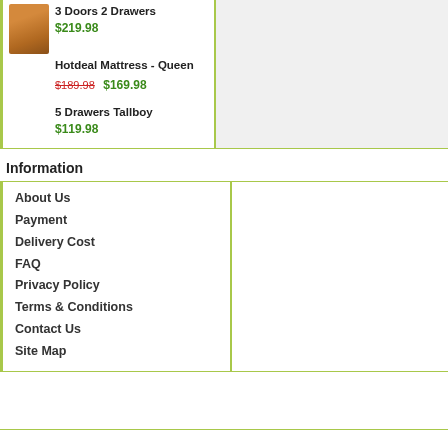[Figure (photo): Small product thumbnail image of a wooden wardrobe/cabinet in brown/orange color]
3 Doors 2 Drawers
$219.98
Hotdeal Mattress - Queen
$189.98 $169.98
5 Drawers Tallboy
$119.98
Information
About Us
Payment
Delivery Cost
FAQ
Privacy Policy
Terms & Conditions
Contact Us
Site Map